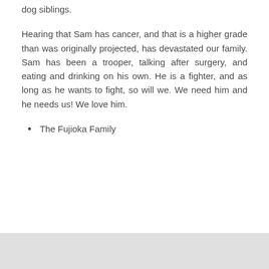dog siblings.
Hearing that Sam has cancer, and that is a higher grade than was originally projected, has devastated our family. Sam has been a trooper, talking after surgery, and eating and drinking on his own. He is a fighter, and as long as he wants to fight, so will we. We need him and he needs us! We love him.
The Fujioka Family